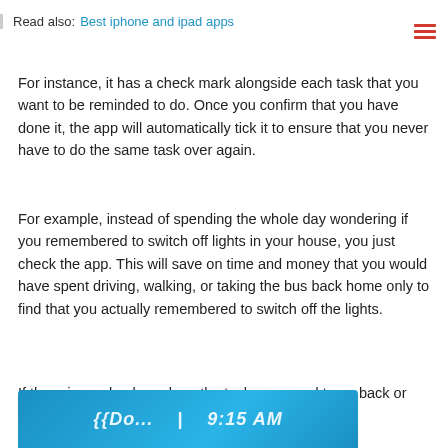Read also: Best iphone and ipad apps
For instance, it has a check mark alongside each task that you want to be reminded to do. Once you confirm that you have done it, the app will automatically tick it to ensure that you never have to do the same task over again.
For example, instead of spending the whole day wondering if you remembered to switch off lights in your house, you just check the app. This will save on time and money that you would have spent driving, walking, or taking the bus back home only to find that you actually remembered to switch off the lights.
If there is no check mark on the task, you need to go back or call one of your family members to do it for you, especially if you are miles away from your home.
[Figure (screenshot): Bottom portion of a mobile app screenshot showing a blue background with white italic text and a time display reading 9:15 AM]